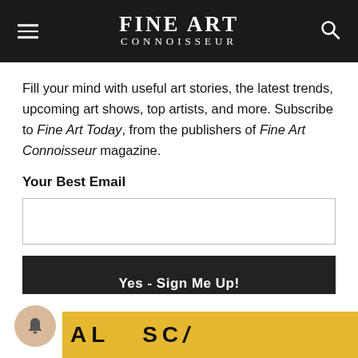FINE ART CONNOISSEUR
Fill your mind with useful art stories, the latest trends, upcoming art shows, top artists, and more. Subscribe to Fine Art Today, from the publishers of Fine Art Connoisseur magazine.
Your Best Email
[Figure (other): Email input field, empty text box with grey border]
[Figure (other): Black button with white text reading 'Yes - Sign Me Up!']
[Figure (other): Bell notification icon (tan/beige circle) at bottom left, and partial yellow bar with large bold letters visible at bottom right]